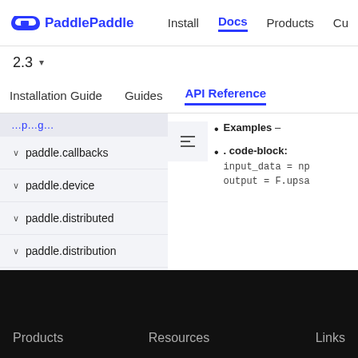PaddlePaddle — Install | Docs | Products | Cu
2.3 ▾
Installation Guide   Guides   API Reference
paddle.callbacks
paddle.device
paddle.distributed
paddle.distribution
Examples –
. code-block: input_data = np... output = F.upsa...
Products   Resources   Links